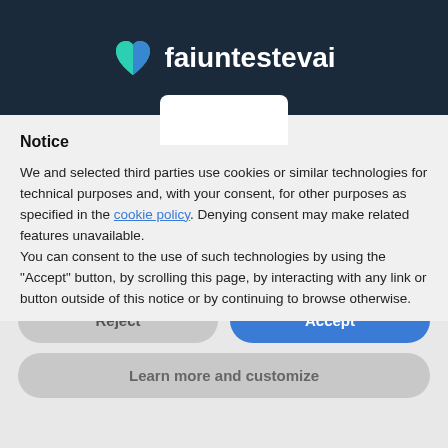[Figure (logo): faiuntestevai logo with teal/blue heart icon and white bold text on dark navy background]
Notice
We and selected third parties use cookies or similar technologies for technical purposes and, with your consent, for other purposes as specified in the cookie policy. Denying consent may make related features unavailable.
You can consent to the use of such technologies by using the “Accept” button, by scrolling this page, by interacting with any link or button outside of this notice or by continuing to browse otherwise.
Reject
Accept
Learn more and customize